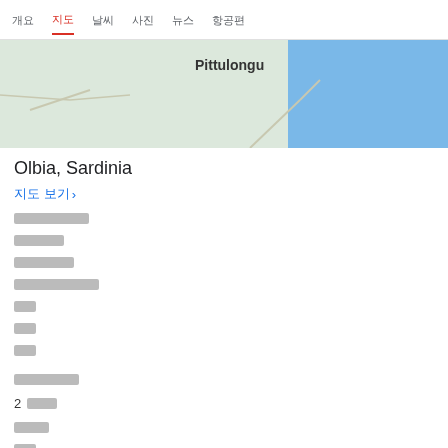개요  지도  날씨  사진  뉴스  항공편
[Figure (map): Map showing Pittulongu area near Olbia, Sardinia with green land and blue sea/water on the right side]
Olbia, Sardinia
지도 보기 >
□□□□□□□
□□□□
□□□□□
□□□□□□□□
날씨
사진
뉴스
□□□□□□
2 □□□
□□□
□□